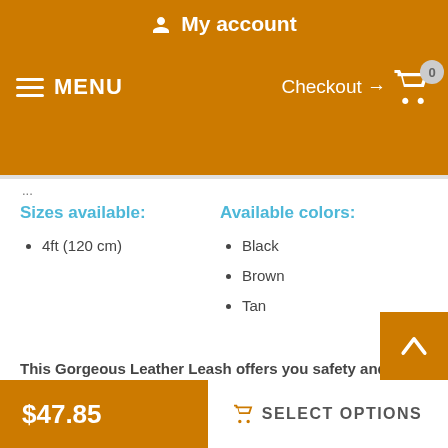My account
MENU   Checkout → 0
Sizes available:
Available colors:
4ft (120 cm)
Black
Brown
Tan
This Gorgeous Leather Leash offers you safety and comfort, because:
- It is made with braiding, which strengthens the construction and adds style.
- It features brass snap-hook for beauty and extra durability.
$47.85
SELECT OPTIONS